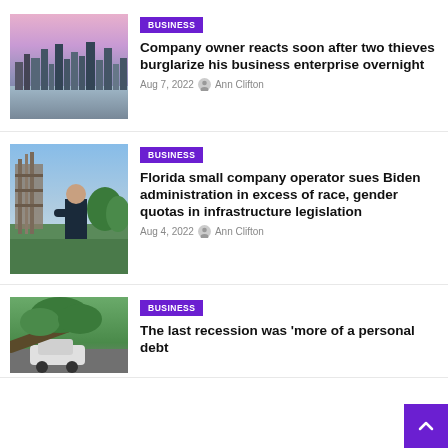[Figure (photo): City skyline at dusk with pink and purple sky over water]
BUSINESS
Company owner reacts soon after two thieves burglarize his business enterprise overnight
Aug 7, 2022  Ann Clifton
[Figure (photo): Man with arms crossed standing outdoors near industrial structure and green trees]
BUSINESS
Florida small company operator sues Biden administration in excess of race, gender quotas in infrastructure legislation
Aug 4, 2022  Ann Clifton
[Figure (photo): Fallen tree on car after storm]
BUSINESS
The last recession was 'more of a personal debt